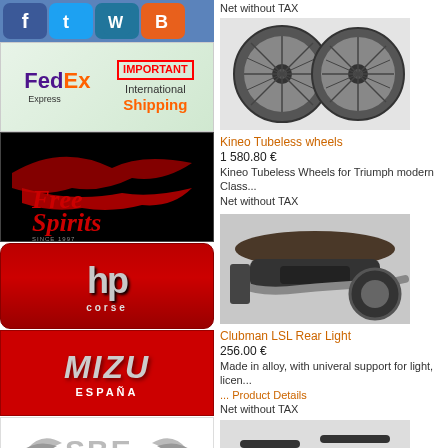[Figure (logo): Social media icons: Facebook, Twitter, WordPress, Blogger]
[Figure (logo): FedEx Express International Shipping banner with IMPORTANT stamp]
[Figure (logo): Free Spirits logo since 1997 on black background]
[Figure (logo): HP Corse logo on red background]
[Figure (logo): Mizu España logo on red background]
[Figure (logo): SBE Racing parts logo]
Net without TAX
[Figure (photo): Kineo Tubeless wheels product image showing two black spoked wheels]
Kineo Tubeless wheels
1 580.80 €
Kineo Tubeless Wheels for Triumph modern Class... Net without TAX
[Figure (photo): Clubman LSL Rear Light product image showing motorcycle rear]
Clubman LSL Rear Light
256.00 €
Made in alloy, with univeral support for light, licen...
... Product Details
Net without TAX
[Figure (photo): Partial product image at bottom right]